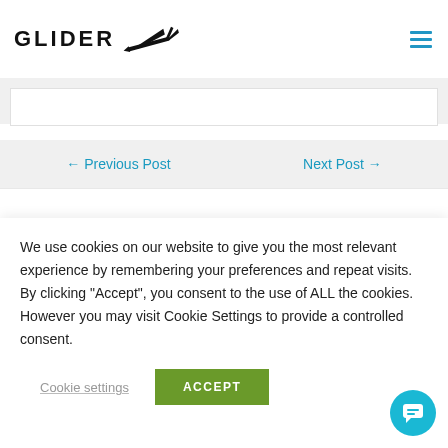[Figure (logo): Glider logo with text GLIDER and a glider airplane silhouette]
[Figure (illustration): Hamburger menu icon (three horizontal blue lines)]
[Figure (illustration): Light blue horizontal bar indicating an image or content area]
← Previous Post
Next Post →
Leave a Comment
We use cookies on our website to give you the most relevant experience by remembering your preferences and repeat visits. By clicking "Accept", you consent to the use of ALL the cookies. However you may visit Cookie Settings to provide a controlled consent.
Cookie settings
ACCEPT
[Figure (illustration): Blue circular chat bubble button in bottom right corner]